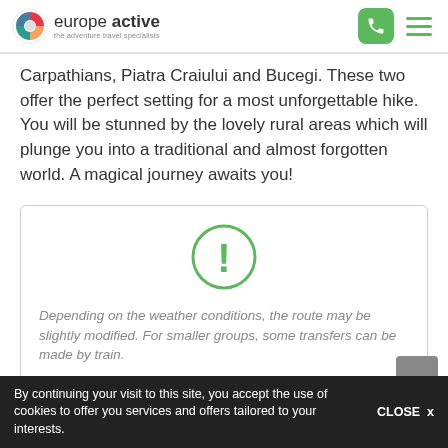europe active — the adventure travel specialists
Carpathians, Piatra Craiului and Bucegi. These two offer the perfect setting for a most unforgettable hike. You will be stunned by the lovely rural areas which will plunge you into a traditional and almost forgotten world. A magical journey awaits you!
[Figure (infographic): Info box with green exclamation circle icon and italic grey text: Depending on the weather conditions, the route may be slightly modified. For smaller groups, some transfers can be made by train.]
By continuing your visit to this site, you accept the use of cookies to offer you services and offers tailored to your interests. CLOSE x